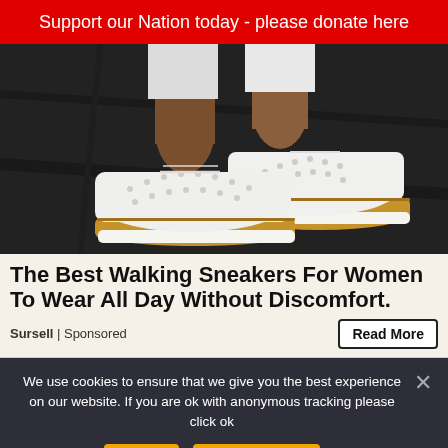Support our Nation today - please donate here
[Figure (photo): Close-up photo of a person's legs wearing white jeans and white perforated walking sneakers with cork-tan soles, on a dark surface.]
The Best Walking Sneakers For Women To Wear All Day Without Discomfort.
Sursell | Sponsored
Read More
We use cookies to ensure that we give you the best experience on our website. If you are ok with anonymous tracking please click ok
Ok
Privacy policy